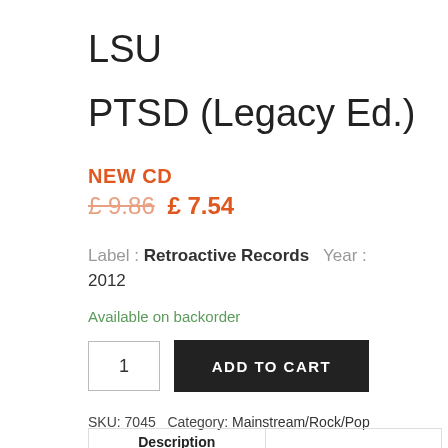LSU
PTSD (Legacy Ed.)
NEW CD
£ 9.86  £ 7.54
Label : Retroactive Records   Year : 2012
Available on backorder
1
ADD TO CART
SKU: 7045  Category: Mainstream/Rock/Pop
Description